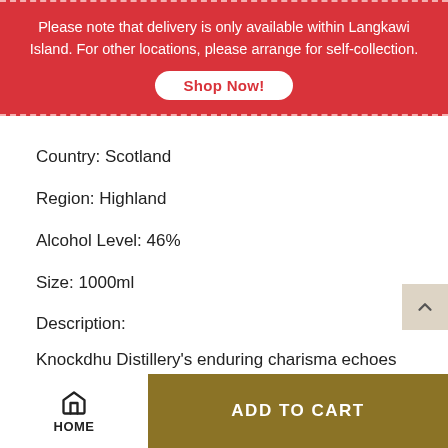Please note that delivery is only available within Langkawi Island. For other locations, please arrange for self-collection.
Shop Now!
Country: Scotland
Region: Highland
Alcohol Level: 46%
Size: 1000ml
Description:
Knockdhu Distillery's enduring charisma echoes the timeless
HOME
ADD TO CART